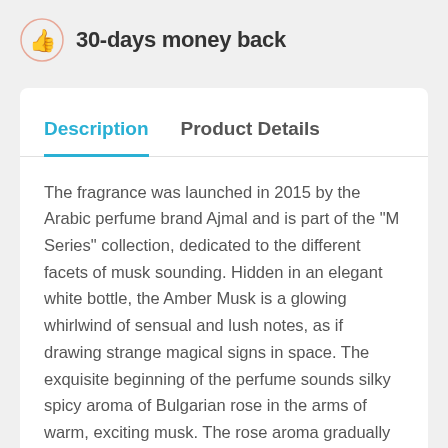[Figure (illustration): Thumbs up icon in a circle, salmon/pink color]
30-days money back
Description
Product Details
The fragrance was launched in 2015 by the Arabic perfume brand Ajmal and is part of the "M Series" collection, dedicated to the different facets of musk sounding. Hidden in an elegant white bottle, the Amber Musk is a glowing whirlwind of sensual and lush notes, as if drawing strange magical signs in space. The exquisite beginning of the perfume sounds silky spicy aroma of Bulgarian rose in the arms of warm, exciting musk. The rose aroma gradually becomes warmer and sweeter. And now the magnificent velvety honey smell of Moroccan rose sounds in the frame of the refined amber. The composition is completed by a chord of warm woody notes, a pine and creamy smell of